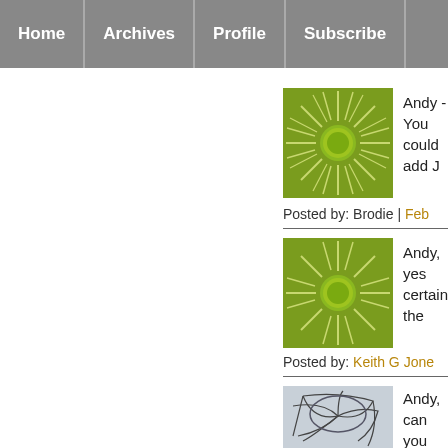Home | Archives | Profile | Subscribe
Andy - You could add J
Posted by: Brodie | Feb
Andy, yes certainly the
Posted by: Keith G Jone
Andy, can you add my list: The Discourse of ' Contemporary Britain of a Post-Foundationa Birmingham Universit
Posted by: Darrell Jacks
Of course Darrell, sour